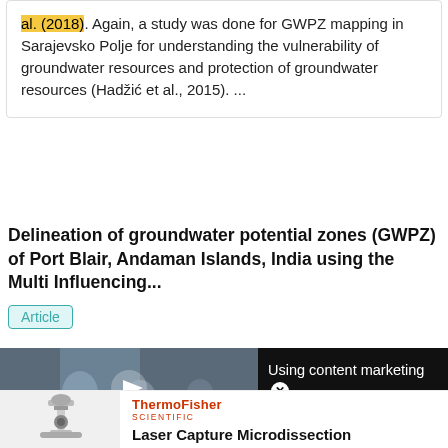al. (2018). Again, a study was done for GWPZ mapping in Sarajevsko Polje for understanding the vulnerability of groundwater resources and protection of groundwater resources (Hadžić et al., 2015). ...
Delineation of groundwater potential zones (GWPZ) of Port Blair, Andaman Islands, India using the Multi Influencing...
Article
Sep 2021
Kajal Kumar Mandal · Avinash Ranjan · Kesavan Bh...
[Figure (screenshot): Video advertisement overlay showing 'Using content marketing in full-funnel campaigns' with a video thumbnail of people at a desk and a close button]
[Figure (photo): Thermo Fisher Scientific advertisement featuring a microscope image and text 'Laser Capture Microdissection']